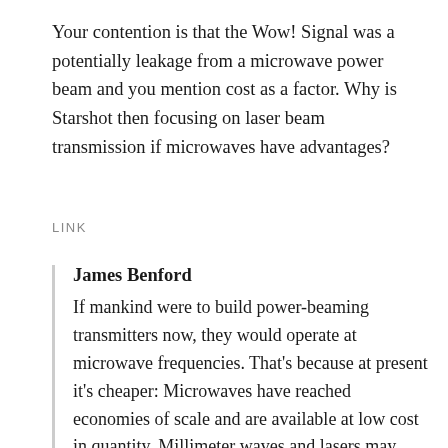Your contention is that the Wow! Signal was a potentially leakage from a microwave power beam and you mention cost as a factor. Why is Starshot then focusing on laser beam transmission if microwaves have advantages?
LINK
James Benford
If mankind were to build power-beaming transmitters now, they would operate at microwave frequencies. That's because at present it's cheaper: Microwaves have reached economies of scale and are available at low cost in quantity. Millimeter waves and lasers may never be economical. Lasers now cost about a thousand more than microwaves per watt. Furthermore, lasers have losses when propagating through atmospheres, so must be based at very high altitude,